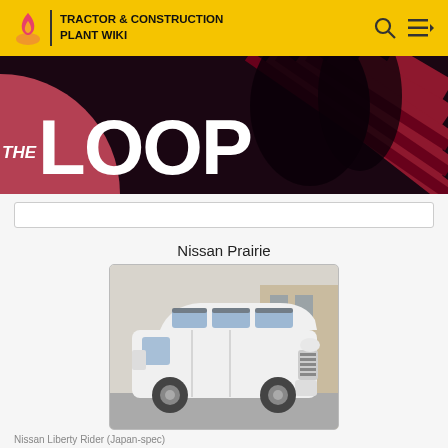TRACTOR & CONSTRUCTION PLANT WIKI
[Figure (photo): THE LOOP banner with large white text on dark background with pink circle and diagonal stripe pattern]
[Figure (photo): White Nissan Liberty Rider (Japan-spec) minivan/station wagon parked in front of a building]
Nissan Liberty Rider (Japan-spec)
Nissan Prairie
| Manufacturer | Nissan |
| Also called | Nissan Multi |